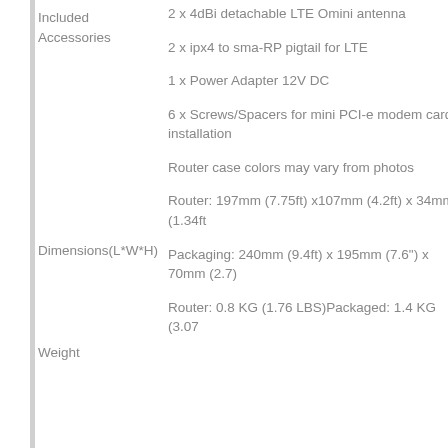|  |  |
| --- | --- |
| Included Accessories | 2 x 4dBi detachable LTE Omini antenna
2 x ipx4 to sma-RP pigtail for LTE
1 x Power Adapter 12V DC
6 x Screws/Spacers for mini PCI-e modem card installation
Router case colors may vary from photos |
| Dimensions(L*W*H) | Router: 197mm (7.75ft) x107mm (4.2ft) x 34mm (1.34ft
Packaging: 240mm (9.4ft) x 195mm (7.6") x 70mm (2.7) |
| Weight | Router: 0.8 KG (1.76 LBS)Packaged: 1.4 KG (3.07 |